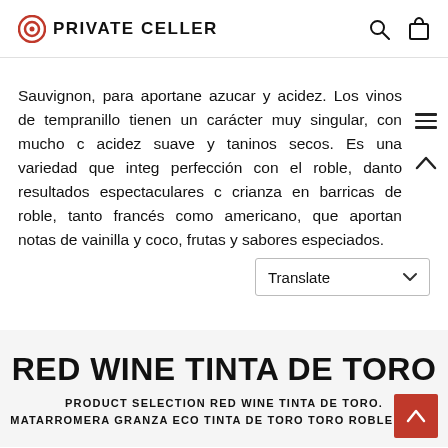PRIVATE CELLER
Sauvignon, para aportane azucar y acidez. Los vinos de tempranillo tienen un carácter muy singular, con mucho c acidez suave y taninos secos. Es una variedad que integ perfección con el roble, danto resultados espectaculares c crianza en barricas de roble, tanto francés como americano, que aportan notas de vainilla y coco, frutas y sabores especiados.
RED WINE TINTA DE TORO
PRODUCT SELECTION RED WINE TINTA DE TORO. MATARROMERA GRANZA ECO TINTA DE TORO TORO ROBLE 75 CL.